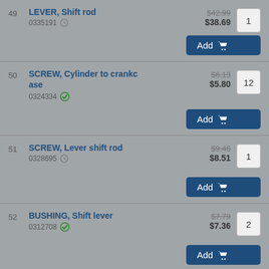49 LEVER, Shift rod 0335191 $42.99 $38.69 qty:1
50 SCREW, Cylinder to crankcase 0324334 $6.13 $5.80 qty:12
51 SCREW, Lever shift rod 0328695 $9.46 $8.51 qty:1
52 BUSHING, Shift lever 0312708 $7.79 $7.36 qty:2
53 WASHER, Pin, lever 0302290 $1.40 $1.31